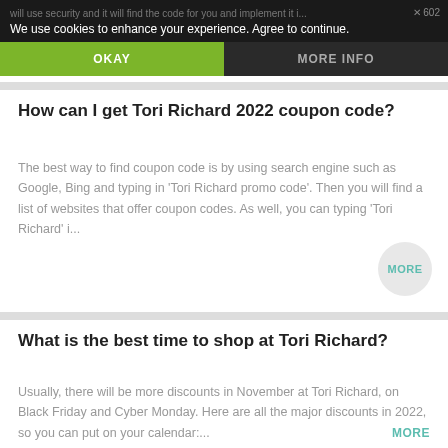We use cookies to enhance your experience. Agree to continue.
OKAY
MORE INFO
How can I get Tori Richard 2022 coupon code?
The best way to find coupon code is by using search engine such as Google, Bing and typing in 'Tori Richard promo code'. Then you will find a list of websites that offer coupon codes. As well, you can typing 'Tori Richard' i...
MORE
What is the best time to shop at Tori Richard?
Usually, there will be more discounts in November at Tori Richard, on Black Friday and Cyber Monday. Here are all the major discounts in 2022, so you can put on your calendar:...
MORE